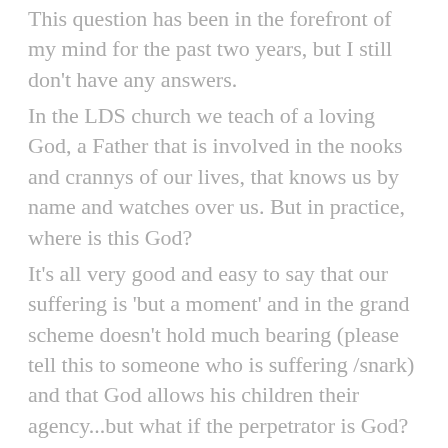This question has been in the forefront of my mind for the past two years, but I still don't have any answers. In the LDS church we teach of a loving God, a Father that is involved in the nooks and crannys of our lives, that knows us by name and watches over us. But in practice, where is this God? It's all very good and easy to say that our suffering is 'but a moment' and in the grand scheme doesn't hold much bearing (please tell this to someone who is suffering /snark) and that God allows his children their agency...but what if the perpetrator is God? If the YW at camp pray for the rain to stop so they can go hiking and it does stop raining, it's an answered prayer. What about those who pray for relief from drought, monsoons etc.? Why was one more important than the